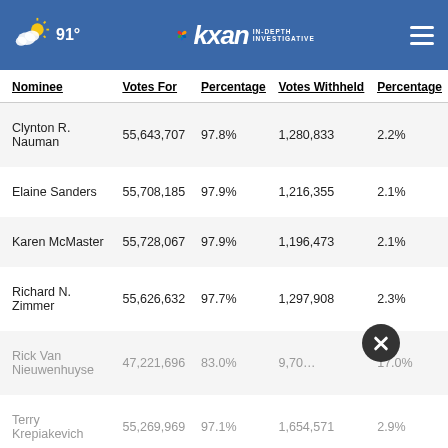91° KXAN IN-DEPTH INVESTIGATIVE
| Nominee | Votes For | Percentage | Votes Withheld | Percentage |
| --- | --- | --- | --- | --- |
| Clynton R. Nauman | 55,643,707 | 97.8% | 1,280,833 | 2.2% |
| Elaine Sanders | 55,708,185 | 97.9% | 1,216,355 | 2.1% |
| Karen McMaster | 55,728,067 | 97.9% | 1,196,473 | 2.1% |
| Richard N. Zimmer | 55,626,632 | 97.7% | 1,297,908 | 2.3% |
| Rick Van Nieuwenhuyse | 47,221,696 | 83.0% | 9,70… | 17.0% |
| Terry Krepiakevich | 55,269,969 | 97.1% | 1,654,571 | 2.9% |